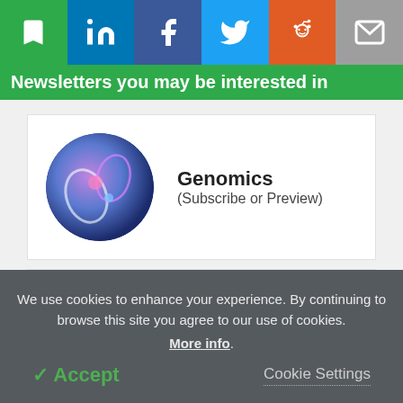[Figure (screenshot): Social sharing toolbar with bookmark (green), LinkedIn (blue), Facebook (dark blue), Twitter (light blue), Reddit (orange), and email (grey) buttons]
Newsletters you may be interested in
[Figure (illustration): Circular image of genomics/DNA visualization in blue and purple tones]
Genomics
(Subscribe or Preview)
[Figure (illustration): Circular image of biotechnology/cell visualization in blue and purple tones]
Biotechnology
(Subscribe or Preview)
We use cookies to enhance your experience. By continuing to browse this site you agree to our use of cookies. More info.
✓ Accept
Cookie Settings